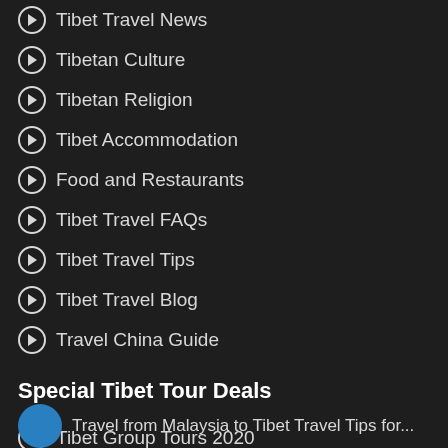Tibet Travel News
Tibetan Culture
Tibetan Religion
Tibet Accommodation
Food and Restaurants
Tibet Travel FAQs
Tibet Travel Tips
Tibet Travel Blog
Travel China Guide
Special Tibet Tour Deals
Tibet Group Tours 2020
Mt Everest Base Camp Adventures
Tibet Car Rental
Travel from Malaysia to Tibet Travel Tips for...